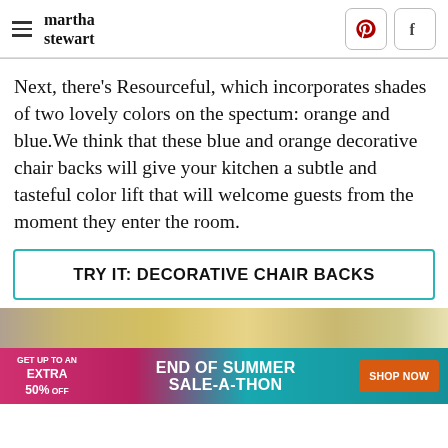martha stewart
Next, there's Resourceful, which incorporates shades of two lovely colors on the spectum: orange and blue.We think that these blue and orange decorative chair backs will give your kitchen a subtle and tasteful color lift that will welcome guests from the moment they enter the room.
TRY IT: DECORATIVE CHAIR BACKS
[Figure (photo): Partial image strip visible at bottom of page, showing a decorative scene with warm tones.]
[Figure (infographic): Advertisement banner: GET UP TO AN EXTRA 50% OFF — END OF SUMMER SALE-A-THON — SHOP NOW button in orange]